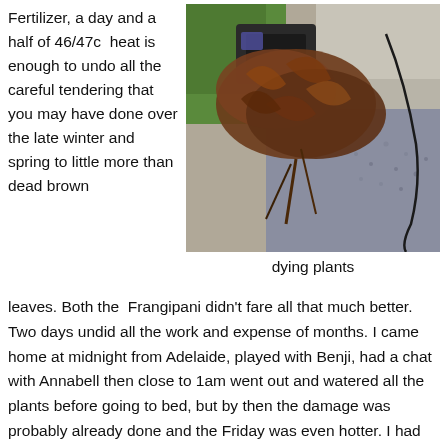Fertilizer, a day and a half of 46/47c heat is enough to undo all the careful tendering that you may have done over the late winter and spring to little more than dead brown leaves. Both the Frangipani didn't fare all that much better. Two days undid all the work and expense of months. I came home at midnight from Adelaide, played with Benji, had a chat with Annabell then close to 1am went out and watered all the plants before going to bed, but by then the damage was probably already done and the Friday was even hotter. I had great
[Figure (photo): Photo of dying/dead plants with brown dried leaves on gravel and artificial grass, taken from above]
dying plants